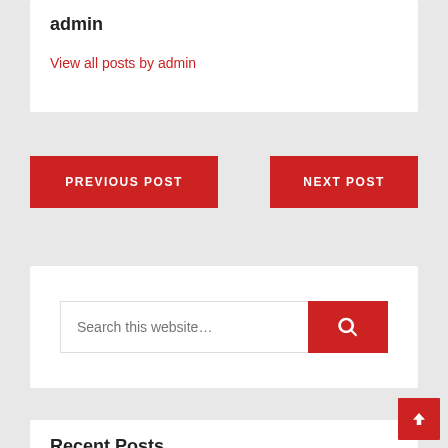admin
View all posts by admin
PREVIOUS POST
NEXT POST
Search this website…
Recent Posts